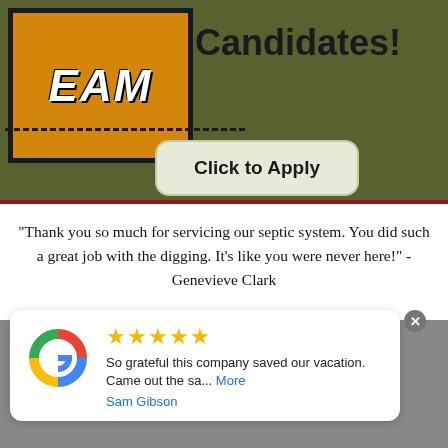[Figure (illustration): Top banner with olive/green background and dark red border at bottom. Left side shows a retro-style sign with orange background and bold italic white text 'EAM' (part of TEAM). To the right is bold black text 'Candidates!' with a dashed line below and a rounded rectangle button reading 'Click to Apply'.]
“Thank you so much for servicing our septic system. You did such a great job with the digging. It’s like you were never here!” - Genevieve Clark
[Figure (screenshot): Google review card with white background and rounded corners, overlaid on a gray banner. Shows Google colored G logo on left, five yellow stars, review text 'So grateful this company saved our vacation. Came out the sa... More', and reviewer name 'Sam Gibson' in blue. A gray circular X close button appears in upper right.]